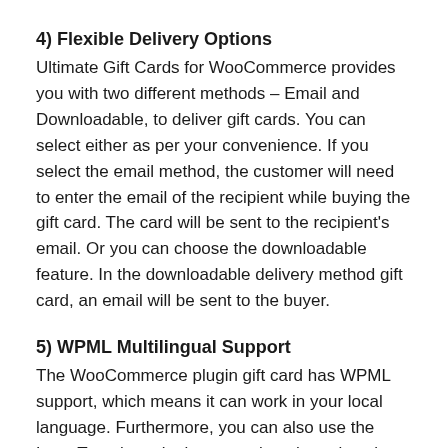4) Flexible Delivery Options
Ultimate Gift Cards for WooCommerce provides you with two different methods – Email and Downloadable, to deliver gift cards. You can select either as per your convenience. If you select the email method, the customer will need to enter the email of the recipient while buying the gift card. The card will be sent to the recipient's email. Or you can choose the downloadable feature. In the downloadable delivery method gift card, an email will be sent to the buyer.
5) WPML Multilingual Support
The WooCommerce plugin gift card has WPML support, which means it can work in your local language. Furthermore, you can also use the Loco Translate plugin to translate the strings into another language.